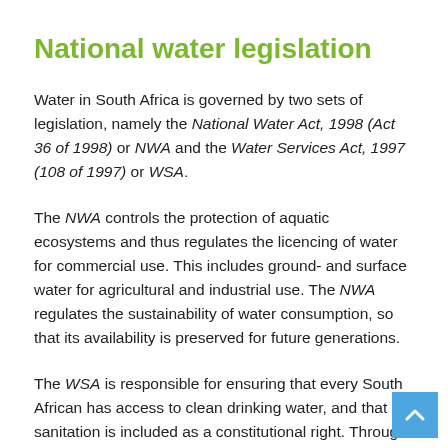National water legislation
Water in South Africa is governed by two sets of legislation, namely the National Water Act, 1998 (Act 36 of 1998) or NWA and the Water Services Act, 1997 (108 of 1997) or WSA.
The NWA controls the protection of aquatic ecosystems and thus regulates the licencing of water for commercial use. This includes ground- and surface water for agricultural and industrial use. The NWA regulates the sustainability of water consumption, so that its availability is preserved for future generations.
The WSA is responsible for ensuring that every South African has access to clean drinking water, and that sanitation is included as a constitutional right. Through this legislation,